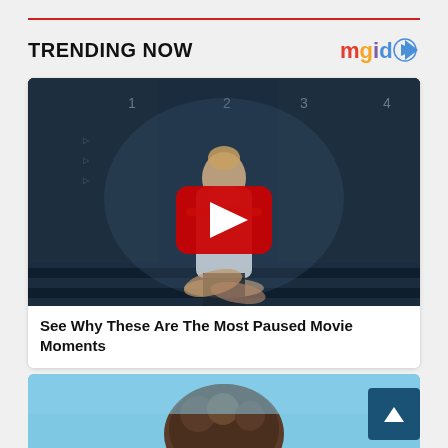TRENDING NOW
[Figure (screenshot): MGID logo with colorful letters and play button icon]
[Figure (photo): Video thumbnail showing a woman in a white turtleneck dress seated in an interrogation room, with a YouTube play button overlay]
See Why These Are The Most Paused Movie Moments
[Figure (photo): Partial view of another article thumbnail showing a person with curly hair against a blue sky, with a back-to-top button overlay]